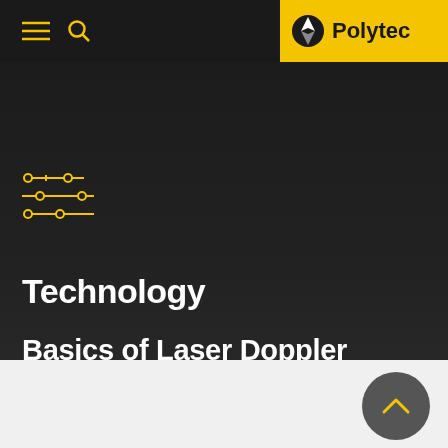Polytec
[Figure (logo): Polytec logo with compass-like icon on yellow background in top-right navigation bar]
[Figure (illustration): Yellow circuit/filter icon with three horizontal lines with nodes, representing technology category]
Technology
Basics of Laser Doppler length and speed measurement